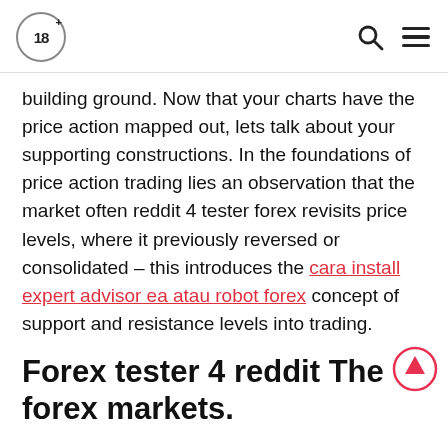18+ [age badge] [search icon] [menu icon]
building ground. Now that your charts have the price action mapped out, lets talk about your supporting constructions. In the foundations of price action trading lies an observation that the market often reddit 4 tester forex revisits price levels, where it previously reversed or consolidated – this introduces the cara install expert advisor ea atau robot forex concept of support and resistance levels into trading.
Forex tester 4 reddit The forex markets.
Did you know that Admiral Markets offers an enhanced version of Metatrader that boosts trading capabilities? Now